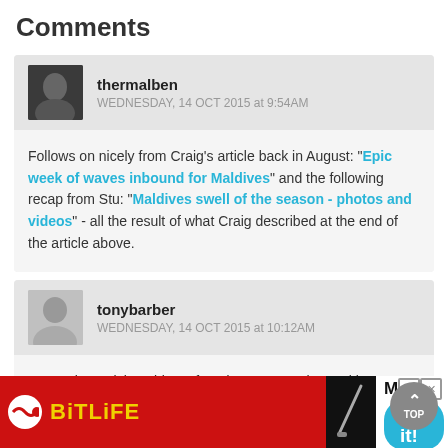Comments
thermalben
WEDNESDAY, 14 OCT 2015 at 9:54AM
Follows on nicely from Craig's article back in August: "Epic week of waves inbound for Maldives" and the following recap from Stu: "Maldives swell of the season - photos and videos" - all the result of what Craig described at the end of the article above.
tonybarber
WEDNESDAY, 14 OCT 2015 at 10:12AM
Interesting article. A bit confused - you state the positive IOD... Whi... he b...
[Figure (other): Advertisement overlay: BitLife app ad with red background, murder/do it text, and close button]